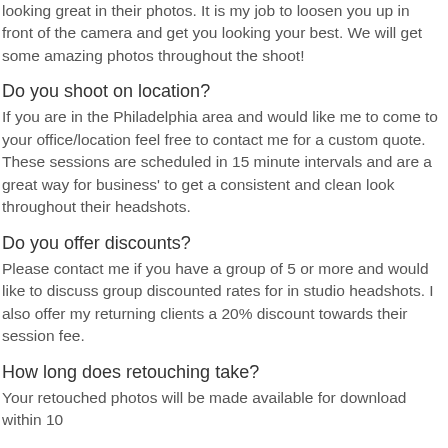looking great in their photos. It is my job to loosen you up in front of the camera and get you looking your best. We will get some amazing photos throughout the shoot!
Do you shoot on location?
If you are in the Philadelphia area and would like me to come to your office/location feel free to contact me for a custom quote. These sessions are scheduled in 15 minute intervals and are a great way for business' to get a consistent and clean look throughout their headshots.
Do you offer discounts?
Please contact me if you have a group of 5 or more and would like to discuss group discounted rates for in studio headshots. I also offer my returning clients a 20% discount towards their session fee.
How long does retouching take?
Your retouched photos will be made available for download within 10